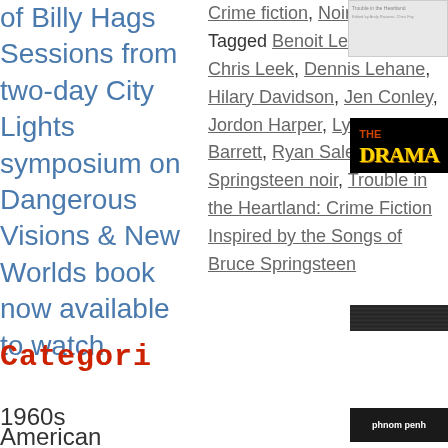of Billy Hags Sessions from two-day City Lights symposium on Dangerous Visions & New Worlds book now available to watch
Crime fiction, Noir fiction Tagged Benoit Lelievre, Chris Leek, Dennis Lehane, Hilary Davidson, Jen Conley, Jordon Harper, Lynne Barrett, Ryan Sales, Springsteen noir, Trouble in the Heartland: Crime Fiction Inspired by the Songs of Bruce Springsteen
[Figure (photo): Small book cover image, light gray/white background with small text]
[Figure (photo): The Orama book cover with yellow text on black background]
[Figure (photo): Dark/black image strip]
Categori
1960s
American crime films
[Figure (photo): Phnom Penh text on dark background]